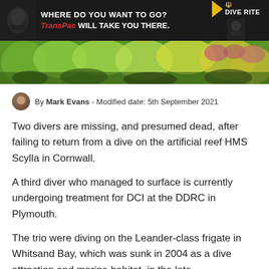[Figure (photo): Advertisement banner for Dive Rite TransPac with dark background, text reads WHERE DO YOU WANT TO GO? TransPac WILL TAKE YOU THERE. with Dive Rite logo on right.]
[Figure (photo): Nature photograph showing dense green and yellow-green foliage with some pink/purple flowers, landscape banner strip.]
By Mark Evans - Modified date: 5th September 2021
Two divers are missing, and presumed dead, after failing to return from a dive on the artificial reef HMS Scylla in Cornwall.
A third diver who managed to surface is currently undergoing treatment for DCI at the DDRC in Plymouth.
The trio were diving on the Leander-class frigate in Whitsand Bay, which was sunk in 2004 as a dive attraction and marine habitat, in the late afternoon/early evening of Friday 3